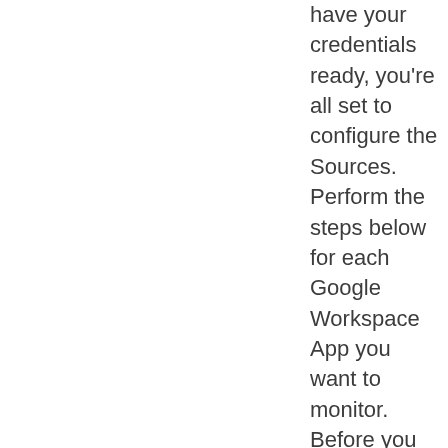have your credentials ready, you're all set to configure the Sources. Perform the steps below for each Google Workspace App you want to monitor.  Before you configure the Sources, choose one of the source category strategies described